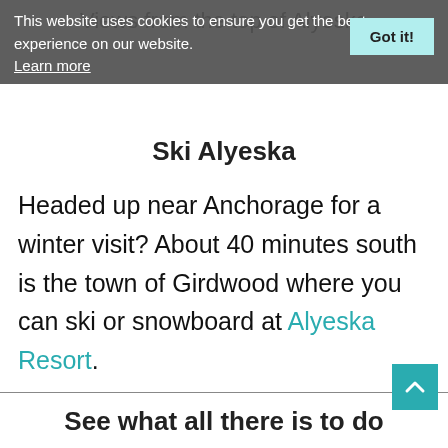Views from the top of Alyeska
This website uses cookies to ensure you get the best experience on our website. Learn more
Ski Alyeska
Headed up near Anchorage for a winter visit? About 40 minutes south is the town of Girdwood where you can ski or snowboard at Alyeska Resort.
See what all there is to do